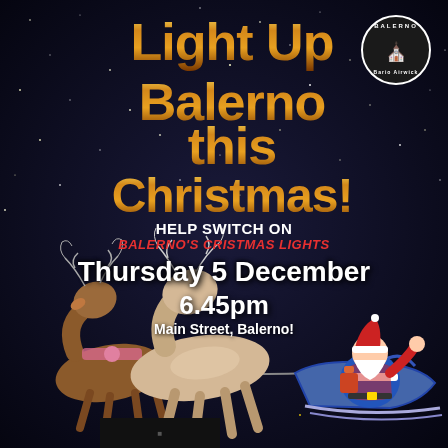[Figure (illustration): Night sky background with scattered gold/white stars on dark navy/black gradient]
Light Up Balerno this Christmas!
[Figure (logo): Balerno circular logo with buildings and figure silhouette, white on dark circle]
HELP SWITCH ON BALERNO'S CRISTMAS LIGHTS
Thursday 5 December
6.45pm
Main Street, Balerno!
[Figure (illustration): Decorative figurine of reindeer pulling Santa Claus in a sleigh, photographed against the dark background]